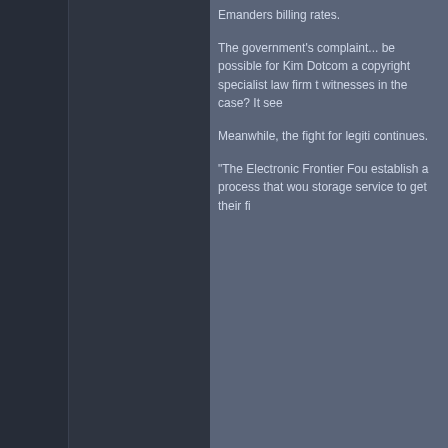Emanders billing rates.
The government's complaint... be possible for Kim Dotcom a copyright specialist law firm t witnesses in the case? It see
Meanwhile, the fight for legiti continues.
"The Electronic Frontier Fou establish a process that wou storage service to get their fi
Regardless of the outcome all balance.
Lagerlout666
Forum Member
Re: US Govt. Objects To Megaupload Hiring Top
« Reply #1 on: April 13, 2012, 0
http://www.youtube.com/watch